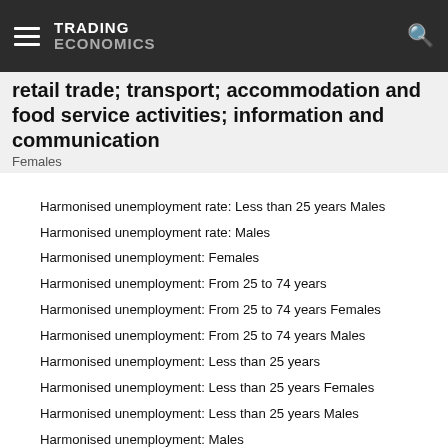TRADING ECONOMICS
retail trade; transport; accommodation and food service activities; information and communication
Females
Harmonised unemployment rate: Less than 25 years Males
Harmonised unemployment rate: Males
Harmonised unemployment: Females
Harmonised unemployment: From 25 to 74 years
Harmonised unemployment: From 25 to 74 years Females
Harmonised unemployment: From 25 to 74 years Males
Harmonised unemployment: Less than 25 years
Harmonised unemployment: Less than 25 years Females
Harmonised unemployment: Less than 25 years Males
Harmonised unemployment: Males
Hours worked per week of full-time employment
Hours worked per week of part-time employment
Inactive population due to caring responsibilities
Inactive population due to caring responsibilities: Females
Inactive population due to caring responsibilities: Males
Jobless households